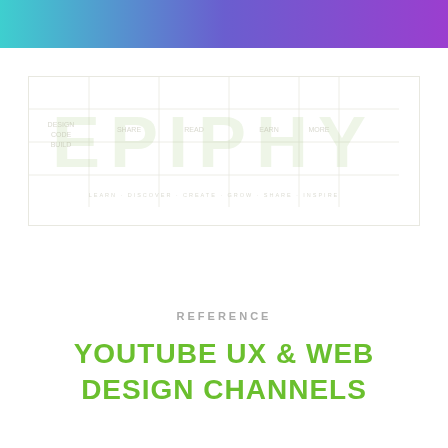[Figure (logo): Gradient header bar from teal to purple, and faint EPIPHY logo watermark with border]
REFERENCE
YOUTUBE UX & WEB DESIGN CHANNELS